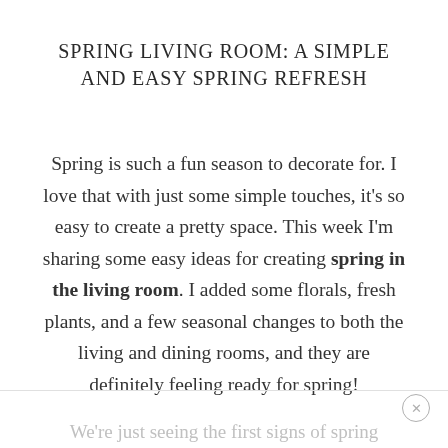SPRING LIVING ROOM: A SIMPLE AND EASY SPRING REFRESH
Spring is such a fun season to decorate for. I love that with just some simple touches, it’s so easy to create a pretty space. This week I’m sharing some easy ideas for creating spring in the living room. I added some florals, fresh plants, and a few seasonal changes to both the living and dining rooms, and they are definitely feeling ready for spring!
We’re just seeing the first signs of spring